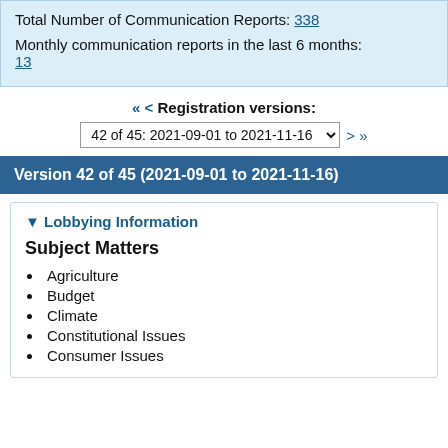Total Number of Communication Reports: 338
Monthly communication reports in the last 6 months: 13
« < Registration versions:
42 of 45: 2021-09-01 to 2021-11-16   > »
Version 42 of 45 (2021-09-01 to 2021-11-16)
▼ Lobbying Information
Subject Matters
Agriculture
Budget
Climate
Constitutional Issues
Consumer Issues